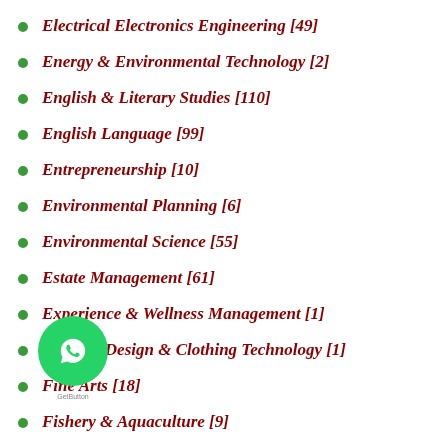Electrical Electronics Engineering [49]
Energy & Environmental Technology [2]
English & Literary Studies [110]
English Language [99]
Entrepreneurship [10]
Environmental Planning [6]
Environmental Science [55]
Estate Management [61]
Experience & Wellness Management [1]
Fashion Design & Clothing Technology [1]
Fine Arts [18]
Fishery & Aquaculture [9]
Food Science & Technology [28]
Forestry [3]
French [9]
Geography [22]